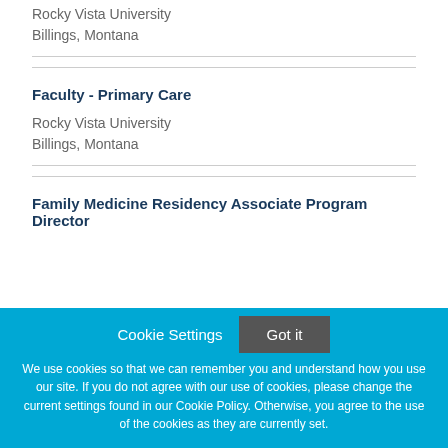Rocky Vista University
Billings, Montana
Faculty - Primary Care
Rocky Vista University
Billings, Montana
Family Medicine Residency Associate Program Director
Cookie Settings
Got it
We use cookies so that we can remember you and understand how you use our site. If you do not agree with our use of cookies, please change the current settings found in our Cookie Policy. Otherwise, you agree to the use of the cookies as they are currently set.